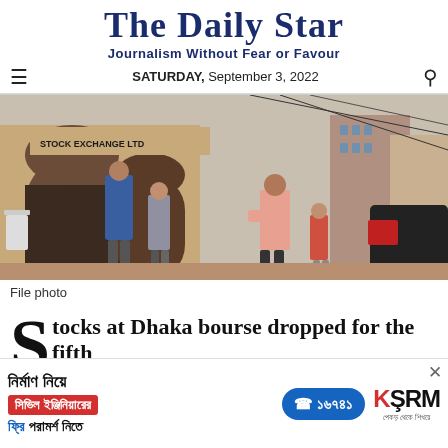The Daily Star
Journalism Without Fear or Favour
SATURDAY, September 3, 2022
[Figure (photo): People walking outside the Dhaka Stock Exchange building entrance, street scene with cars and city buildings in background. File photo.]
File photo
Stocks at Dhaka bourse dropped for the fifth
[Figure (infographic): Advertisement banner for KSRM civil engineering consultation service with Bengali text: 'নির্মাণ নিয়ে, সিভিল ইঞ্জিনিয়ারের, ফ্রি পরামর্শ নিতে' and phone number ১৬৭৪১, with KSRM brand logo.]